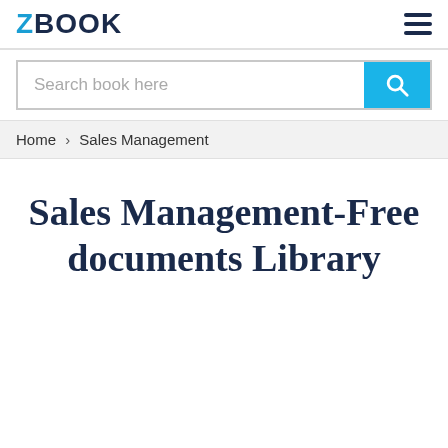ZBOOK
[Figure (screenshot): Search bar with placeholder text 'Search book here' and a cyan/blue search button with magnifying glass icon]
Home > Sales Management
Sales Management-Free documents Library